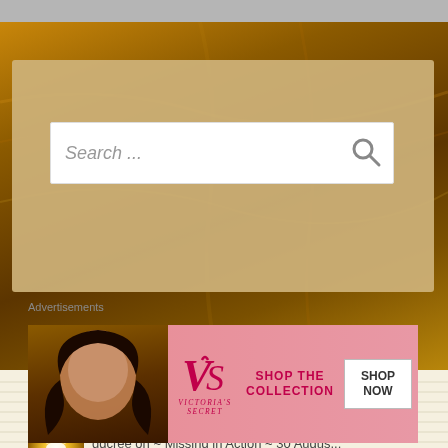[Figure (screenshot): Top grey navigation bar of a website]
[Figure (photo): Golden/brown decorative website header background with warm tones]
[Figure (screenshot): Search box with italic placeholder text 'Search ...' and a magnifying glass icon on a beige/tan background panel]
Recent Comments
[Figure (photo): Small avatar thumbnail showing a glowing bird/dove figure with golden light rays]
dgcree on ~ Missing in Action ~ 30 Augus...
Advertisements
[Figure (photo): Victoria's Secret advertisement banner showing a woman with curly hair, VS logo, 'SHOP THE COLLECTION' text and 'SHOP NOW' button]